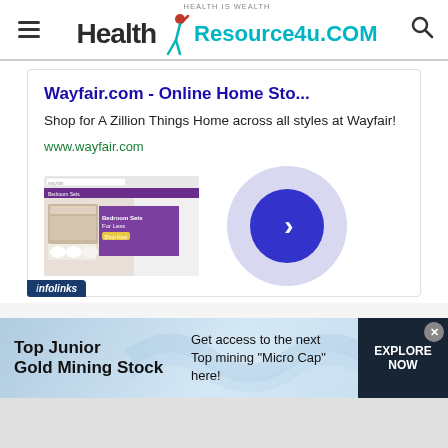[Figure (logo): Health Resource4u.COM website logo with tagline HEALTH IS WEALTH, hamburger menu icon on left, search icon on right]
[Figure (screenshot): Advertisement for Wayfair.com - Online Home Store with title, description, URL, and screenshot thumbnail with arrow button]
[Figure (infographic): Bottom banner ad: Top Junior Gold Mining Stock - Get access to the next Top mining Micro Cap here! with EXPLORE NOW button]